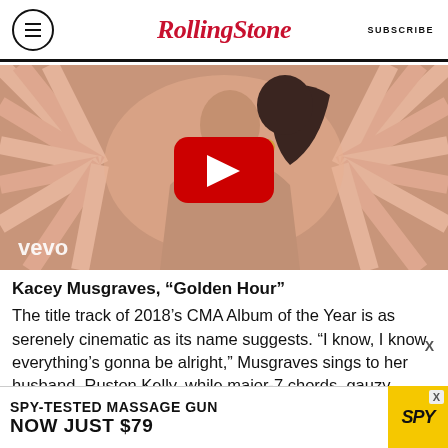Rolling Stone | SUBSCRIBE
[Figure (screenshot): YouTube video thumbnail showing a woman with pink fan-like background, with YouTube play button overlay and 'vevo' watermark in bottom left.]
Kacey Musgraves, “Golden Hour”
The title track of 2018’s CMA Album of the Year is as serenely cinematic as its name suggests. “I know, I know everything’s gonna be alright,” Musgraves sings to her husband, Ruston Kelly, while major-7 chords, gauzy keyboards and pools
[Figure (screenshot): Advertisement banner: SPY-TESTED MASSAGE GUN NOW JUST $79. Yellow SPY logo on right side with X close button.]